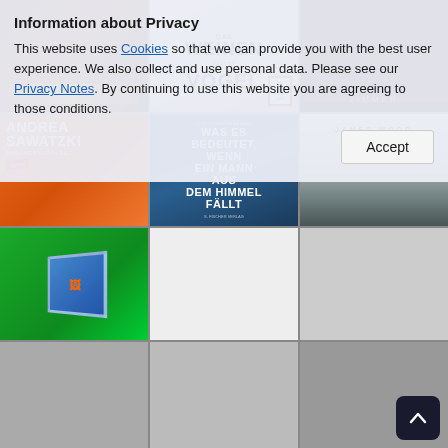[Figure (other): Grid of book cover thumbnails: top row has 3 dark/illustrated book covers; middle row shows Andrea Sawatzki Brunnenstrasse (orange), Was es bedeutet wenn ein Mann aus dem Himmel fällt (blue), James Wood Upstate (gray/white); bottom row shows a colorful illustrated book cover on green background.]
Information about Privacy
This website uses Cookies so that we can provide you with the best user experience. We also collect and use personal data. Please see our Privacy Notes . By continuing to use this website you are agreeing to those conditions.